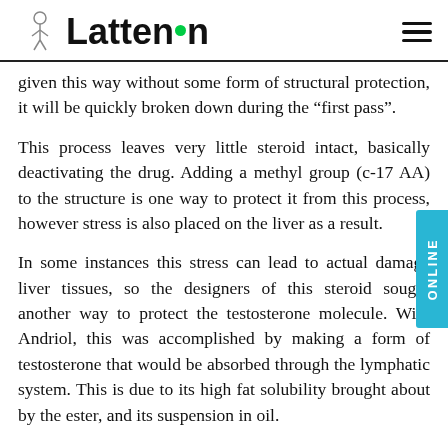Lattenson
given this way without some form of structural protection, it will be quickly broken down during the “first pass”.
This process leaves very little steroid intact, basically deactivating the drug. Adding a methyl group (c-17 AA) to the structure is one way to protect it from this process, however stress is also placed on the liver as a result.
In some instances this stress can lead to actual damage liver tissues, so the designers of this steroid sought another way to protect the testosterone molecule. With Andriol, this was accomplished by making a form of testosterone that would be absorbed through the lymphatic system. This is due to its high fat solubility brought about by the ester, and its suspension in oil.